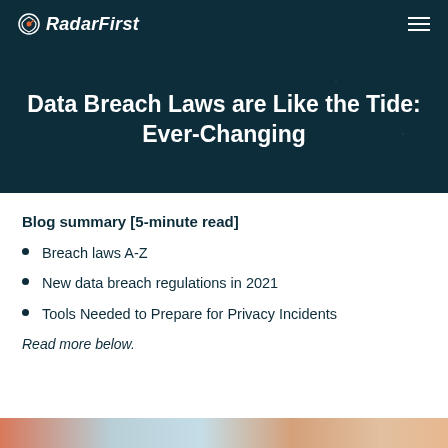RadarFirst
Data Breach Laws are Like the Tide: Ever-Changing
Blog summary [5-minute read]
Breach laws A-Z
New data breach regulations in 2021
Tools Needed to Prepare for Privacy Incidents
Read more below.
[Figure (photo): Colorful background image strip at bottom of page]